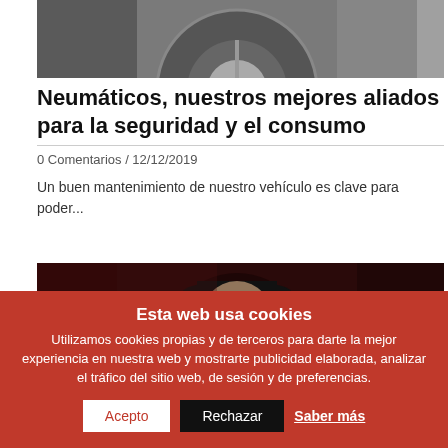[Figure (photo): Close-up photo of a car wheel/tire and vehicle components]
Neumáticos, nuestros mejores aliados para la seguridad y el consumo
0 Comentarios / 12/12/2019
Un buen mantenimiento de nuestro vehículo es clave para poder...
[Figure (photo): Dark photo showing a person wearing a black hat]
Esta web usa cookies
Utilizamos cookies propias y de terceros para darte la mejor experiencia en nuestra web y mostrarte publicidad elaborada, analizar el tráfico del sitio web, de sesión y de preferencias.
Acepto  Rechazar  Saber más